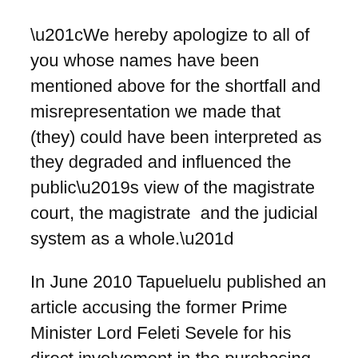“We hereby apologize to all of you whose names have been mentioned above for the shortfall and misrepresentation we made that (they) could have been interpreted as they degraded and influenced the public’s view of the magistrate court, the magistrate  and the judicial system as a whole.”
In June 2010 Tapueluelu published an article accusing the former Prime Minister Lord Feleti Sevele for his direct involvement in the purchasing of the MV Ashika that sank in Tonga in 2009 killing 74 passengers.
Lord Sevele sued the newspaper along with the editor and publisher demanding them to pay compensation as the article was  a clear breach of Tonga’s Royal Commission of Inquiry’s  Laws.
Editor Tapueluelu eventually retracted his claim, paid Sevele’s